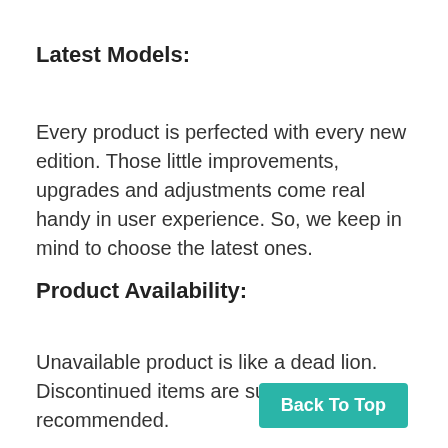Latest Models:
Every product is perfected with every new edition. Those little improvements, upgrades and adjustments come real handy in user experience. So, we keep in mind to choose the latest ones.
Product Availability:
Unavailable product is like a dead lion. Discontinued items are surely not recommended.